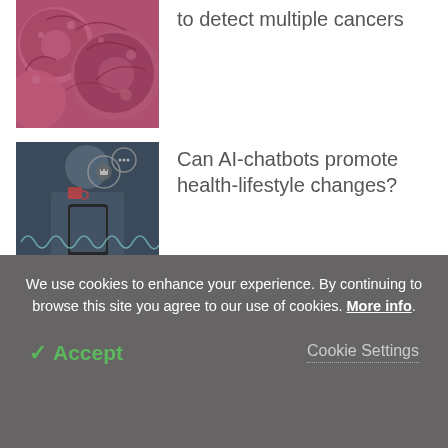[Figure (photo): Close-up image of pink/red cancer cells]
to detect multiple cancers
[Figure (photo): Person holding smartphone with AI chatbot interface overlaid]
Can AI-chatbots promote health-lifestyle changes?
[Figure (photo): Abstract technology image with data streams and purple-blue digital grid]
Scientists turn toward artificial intelligence for unraveling cell biology
We use cookies to enhance your experience. By continuing to browse this site you agree to our use of cookies. More info.
✓ Accept
Cookie Settings